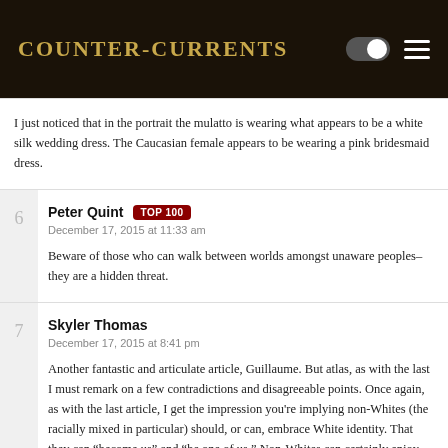Counter-Currents
I just noticed that in the portrait the mulatto is wearing what appears to be a white silk wedding dress. The Caucasian female appears to be wearing a pink bridesmaid dress.
Peter Quint TOP 100
December 17, 2015 at 11:33 am

Beware of those who can walk between worlds amongst unaware peoples–they are a hidden threat.
Skyler Thomas
December 17, 2015 at 8:41 pm

Another fantastic and articulate article, Guillaume. But atlas, as with the last I must remark on a few contradictions and disagreeable points. Once again, as with the last article, I get the impression you're implying non-Whites (the racially mixed in particular) should, or can, embrace White identity. That they can "become us" and "be one of us." Non-Whites can certainly enjoy aspects of Europe (and the Anglosphere, and French Canada, etc.,) The culture, the identities, the traditions, the ethos (e.g., Classical music,